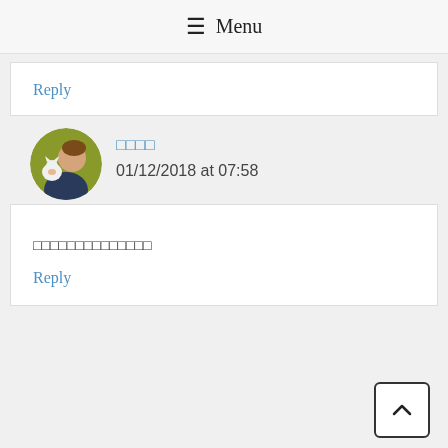☰ Menu
Reply
□□□□ — 01/12/2018 at 07:58
□□□□□□□□□□□□□□
Reply